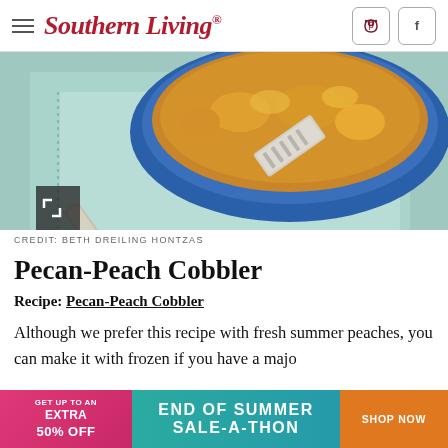Southern Living
[Figure (photo): Overhead view of a peach cobbler in a blue baking dish with a silver serving spatula on a light blue cloth napkin]
CREDIT: BETH DREILING HONTZAS
Pecan-Peach Cobbler
Recipe: Pecan-Peach Cobbler
Although we prefer this recipe with fresh summer peaches, you can make it with frozen if you have a majo
[Figure (infographic): Advertisement banner: GET UP TO AN EXTRA 50% OFF | END OF SUMMER SALE-A-THON | SHOP NOW]